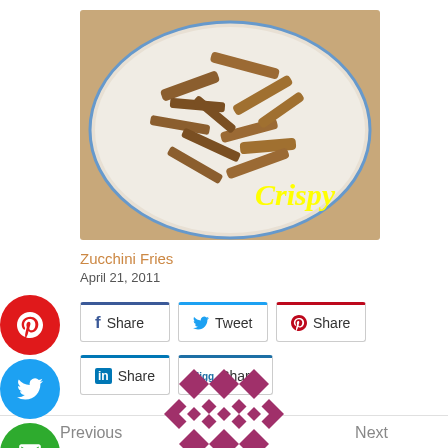[Figure (photo): Photo of crispy zucchini fries on a plate with yellow 'Crispy' text overlay]
Zucchini Fries
April 21, 2011
[Figure (infographic): Social share buttons: Facebook Share, Tweet, Pinterest Share, LinkedIn Share, Digg Share]
[Figure (infographic): Floating social sidebar buttons: Pinterest, Twitter, Email, Print, Facebook]
Previous
Next
[Figure (logo): Purple/magenta quilt pattern logo at bottom center]